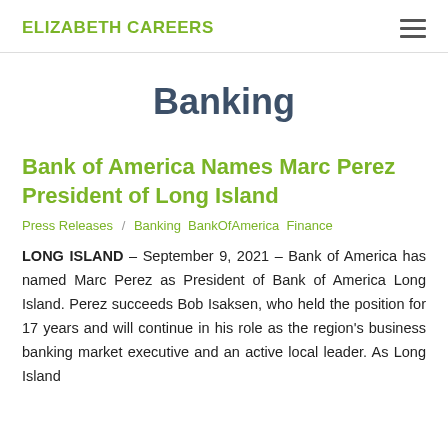ELIZABETH CAREERS
Banking
Bank of America Names Marc Perez President of Long Island
Press Releases / Banking BankOfAmerica Finance
LONG ISLAND – September 9, 2021 – Bank of America has named Marc Perez as President of Bank of America Long Island. Perez succeeds Bob Isaksen, who held the position for 17 years and will continue in his role as the region's business banking market executive and an active local leader. As Long Island...